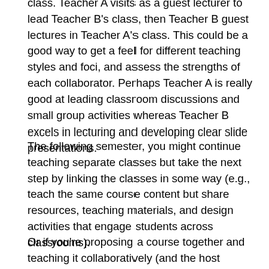class. Teacher A visits as a guest lecturer to lead Teacher B's class, then Teacher B guest lectures in Teacher A's class. This could be a good way to get a feel for different teaching styles and foci, and assess the strengths of each collaborator. Perhaps Teacher A is really good at leading classroom discussions and small group activities whereas Teacher B excels in lecturing and developing clear slide presentations.
The following semester, you might continue teaching separate classes but take the next step by linking the classes in some way (e.g., teach the same course content but share resources, teaching materials, and design activities that engage students across classrooms).
Or if you're proposing a course together and teaching it collaboratively (and the host department allows co-teaching), perhaps B prepares materials for the first half of each class and A prepares activities and discussions for the second half of the class period. The next class, switch roles. This would